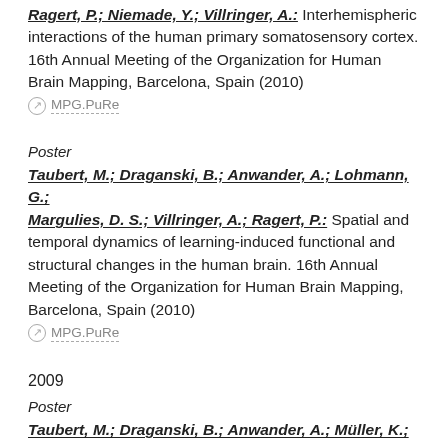Ragert, P.; Niemade, Y.; Villringer, A.: Interhemispheric interactions of the human primary somatosensory cortex. 16th Annual Meeting of the Organization for Human Brain Mapping, Barcelona, Spain (2010)
MPG.PuRe
Poster
Taubert, M.; Draganski, B.; Anwander, A.; Lohmann, G.; Margulies, D. S.; Villringer, A.; Ragert, P.: Spatial and temporal dynamics of learning-induced functional and structural changes in the human brain. 16th Annual Meeting of the Organization for Human Brain Mapping, Barcelona, Spain (2010)
MPG.PuRe
2009
Poster
Taubert, M.; Draganski, B.; Anwander, A.; Müller, K.;